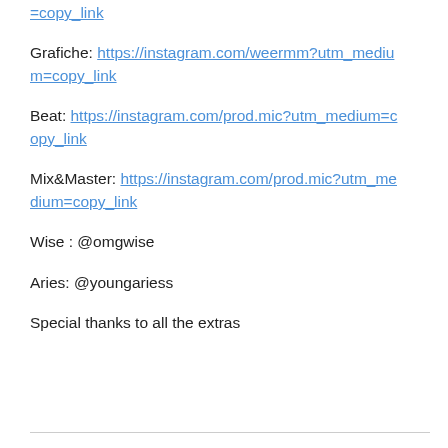=copy_link
Grafiche: https://instagram.com/weermm?utm_medium=copy_link
Beat: https://instagram.com/prod.mic?utm_medium=copy_link
Mix&Master: https://instagram.com/prod.mic?utm_medium=copy_link
Wise : @omgwise
Aries: @youngariess
Special thanks to all the extras